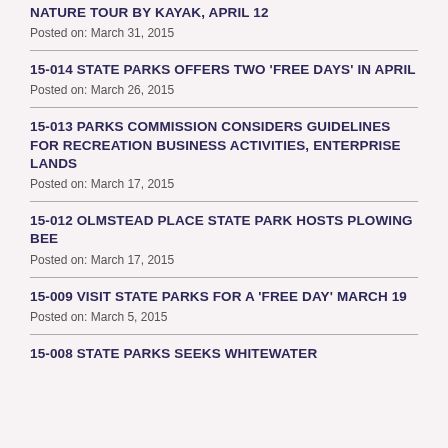NATURE TOUR BY KAYAK, APRIL 12
Posted on: March 31, 2015
15-014 STATE PARKS OFFERS TWO ‘FREE DAYS’ IN APRIL
Posted on: March 26, 2015
15-013 PARKS COMMISSION CONSIDERS GUIDELINES FOR RECREATION BUSINESS ACTIVITIES, ENTERPRISE LANDS
Posted on: March 17, 2015
15-012 OLMSTEAD PLACE STATE PARK HOSTS PLOWING BEE
Posted on: March 17, 2015
15-009 VISIT STATE PARKS FOR A ‘FREE DAY’ MARCH 19
Posted on: March 5, 2015
15-008 STATE PARKS SEEKS WHITEWATER